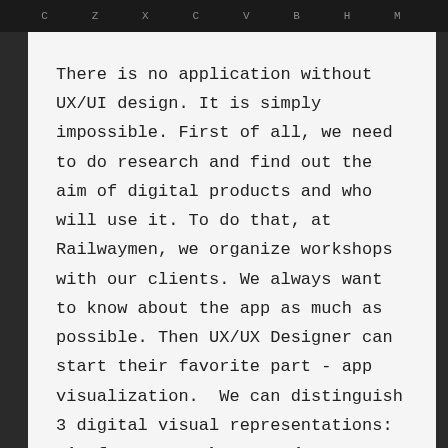c z x c v b h m
There is no application without UX/UI design. It is simply impossible. First of all, we need to do research and find out the aim of digital products and who will use it. To do that, at Railwaymen, we organize workshops with our clients. We always want to know about the app as much as possible. Then UX/UX Designer can start their favorite part - app visualization.  We can distinguish 3 digital visual representations: wireframes, mockups, and prototypes.
The way to execute these factors is as follow: